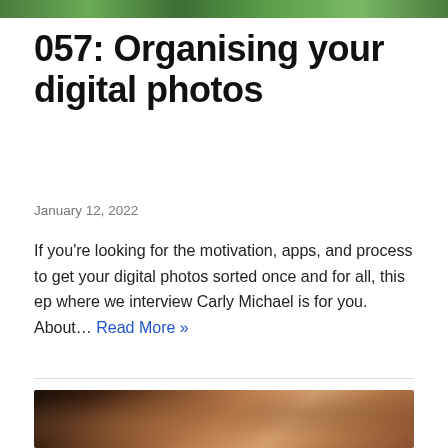[Figure (photo): Top banner image, cropped green foliage/nature scene]
057: Organising your digital photos
January 12, 2022
If you're looking for the motivation, apps, and process to get your digital photos sorted once and for all, this ep where we interview Carly Michael is for you. About… Read More »
[Figure (photo): Close-up photo of skin/human body, dark background]